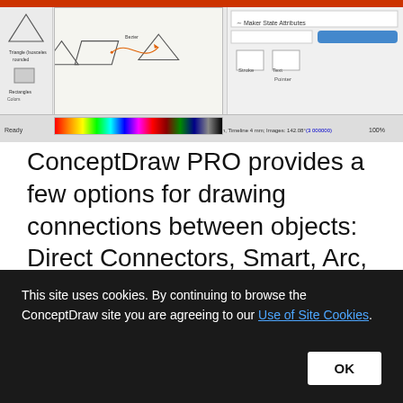[Figure (screenshot): Screenshot of ConceptDraw PRO application showing shapes connected with Bezier/arc connectors on a canvas, with color palette toolbar at bottom and properties panel on the right.]
ConceptDraw PRO provides a few options for drawing connections between objects: Direct Connectors, Smart, Arc, Bezier, Curve and Round Connectors. You can connect objects in your ConceptDraw diagram with proper connectors using the embedded automatic
This site uses cookies. By continuing to browse the ConceptDraw site you are agreeing to our Use of Site Cookies.